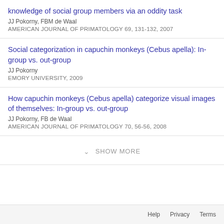knowledge of social group members via an oddity task
JJ Pokorny, FBM de Waal
AMERICAN JOURNAL OF PRIMATOLOGY 69, 131-132, 2007
Social categorization in capuchin monkeys (Cebus apella): In-group vs. out-group
JJ Pokorny
EMORY UNIVERSITY, 2009
How capuchin monkeys (Cebus apella) categorize visual images of themselves: In-group vs. out-group
JJ Pokorny, FB de Waal
AMERICAN JOURNAL OF PRIMATOLOGY 70, 56-56, 2008
SHOW MORE
Help   Privacy   Terms